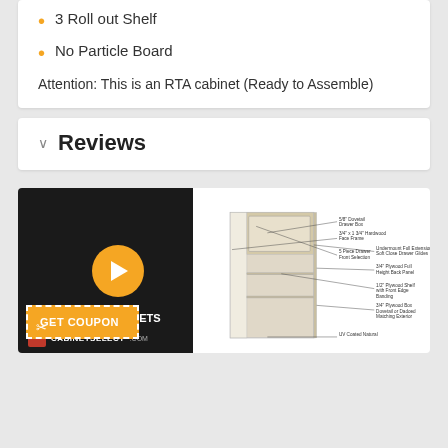3 Roll out Shelf
No Particle Board
Attention: This is an RTA cabinet (Ready to Assemble)
Reviews
[Figure (screenshot): Video thumbnail showing RTA Kitchen Cabinets with CabinetSelect.com branding on dark background, with orange play button overlay and a GET COUPON dashed box. Adjacent panel shows a detailed cabinet diagram with labeled components including 5/8 Dovetail Drawer Box, 5 Piece Drawer Front Selection, 3/4 Hardwood Face Frame, Undermount Full Extension Soft Close Drawer Glides, 3/4 Plywood Full Height Back Panel, 1/2 Plywood Shelf with Front Edge Banding, 3/4 Plywood Box Dovetail or Dadoed Matching Exterior, UV Coated Natural interior.]